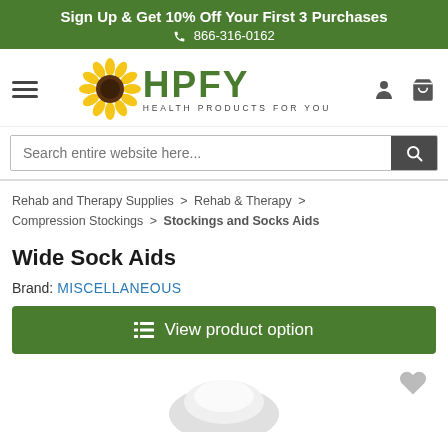Sign Up & Get 10% Off Your First 3 Purchases
866-316-0162
[Figure (logo): HPFY Health Products For You logo with sunflower]
Search entire website here...
Rehab and Therapy Supplies > Rehab & Therapy > Compression Stockings > Stockings and Socks Aids
Wide Sock Aids
Brand: MISCELLANEOUS
View product option
[Figure (photo): Product image of wide sock aid (white sock helper device)]